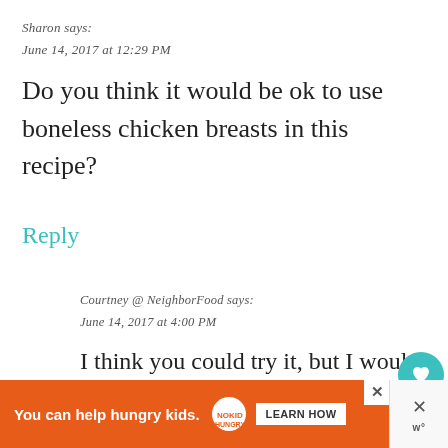Sharon says:
June 14, 2017 at 12:29 PM
Do you think it would be ok to use boneless chicken breasts in this recipe?
Reply
Courtney @ NeighborFood says:
June 14, 2017 at 4:00 PM
I think you could try it, but I would bake the chicken breasts on a separate pan in case they get done before the rest of th...
You can help hungry kids. NOKID HUNGRY LEARN HOW